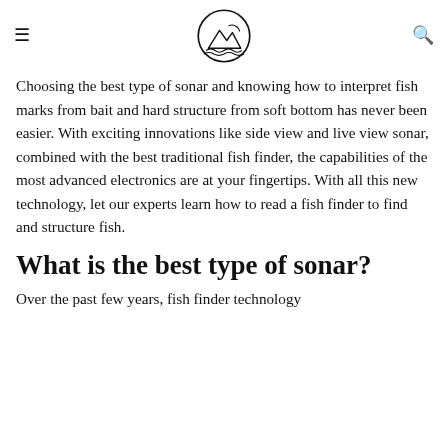[hamburger menu] [logo] [search icon]
Choosing the best type of sonar and knowing how to interpret fish marks from bait and hard structure from soft bottom has never been easier. With exciting innovations like side view and live view sonar, combined with the best traditional fish finder, the capabilities of the most advanced electronics are at your fingertips. With all this new technology, let our experts learn how to read a fish finder to find and structure fish.
What is the best type of sonar?
Over the past few years, fish finder technology